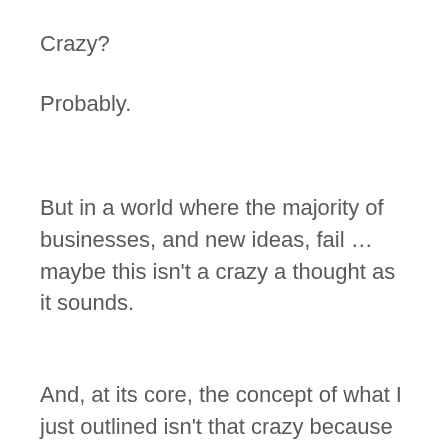Crazy?
Probably.
But in a world where the majority of businesses, and new ideas, fail … maybe this isn't a crazy a thought as it sounds.
And, at its core, the concept of what I just outlined isn't that crazy because